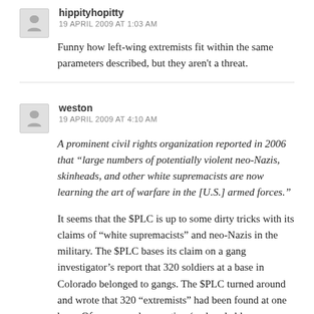hippityhopitty
19 APRIL 2009 AT 1:03 AM
Funny how left-wing extremists fit within the same parameters described, but they aren't a threat.
weston
19 APRIL 2009 AT 4:10 AM
A prominent civil rights organization reported in 2006 that “large numbers of potentially violent neo-Nazis, skinheads, and other white supremacists are now learning the art of warfare in the [U.S.] armed forces.”
It seems that the $PLC is up to some dirty tricks with its claims of “white supremacists” and neo-Nazis in the military. The $PLC bases its claim on a gang investigator’s report that 320 soldiers at a base in Colorado belonged to gangs. The $PLC turned around and wrote that 320 “extremists” had been found at one base. Of course, only a portion (and probably a very